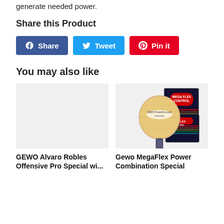generate needed power.
Share this Product
[Figure (infographic): Three social share buttons: Facebook Share (blue), Twitter Tweet (light blue), Pinterest Pin it (red)]
You may also like
[Figure (photo): GEWO Alvaro Robles Offensive Pro Special table tennis blade product image placeholder (light grey box)]
GEWO Alvaro Robles Offensive Pro Special wi...
[Figure (photo): Gewo MegaFlex Power Combination Special product image showing a table tennis blade and two rubber sheets with Mega Flex Control branding]
Gewo MegaFlex Power Combination Special